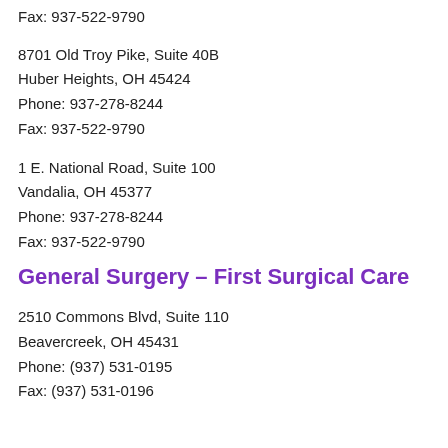Fax: 937-522-9790
8701 Old Troy Pike, Suite 40B
Huber Heights, OH 45424
Phone: 937-278-8244
Fax: 937-522-9790
1 E. National Road, Suite 100
Vandalia, OH 45377
Phone: 937-278-8244
Fax: 937-522-9790
General Surgery - First Surgical Care
2510 Commons Blvd, Suite 110
Beavercreek, OH 45431
Phone: (937) 531-0195
Fax: (937) 531-0196